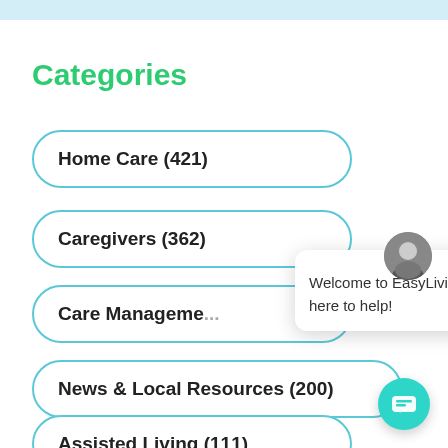Categories
Home Care (421)
Caregivers (362)
Care Management
News & Local Resources (200)
Assisted Living (111)
[Figure (screenshot): Chat popup with avatar showing 'Welcome to EasyLiving. I'm here to help!' and a teal chat FAB button in the bottom right corner.]